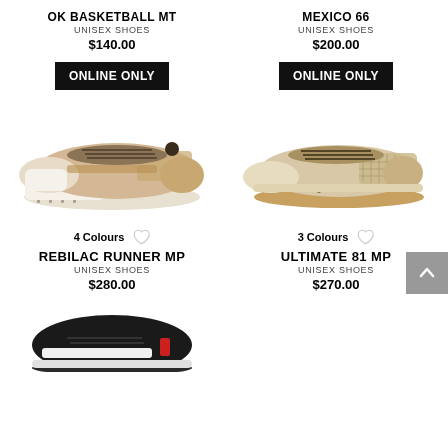OK BASKETBALL MT
UNISEX SHOES
$140.00
MEXICO 66
UNISEX SHOES
$200.00
ONLINE ONLY
ONLINE ONLY
[Figure (photo): Beige/tan sneaker with white chunky sole - REBILAC RUNNER MP left product]
[Figure (photo): Beige/tan sneaker with gum sole - ULTIMATE 81 MP right product]
4 Colours
REBILAC RUNNER MP
UNISEX SHOES
$280.00
3 Colours
ULTIMATE 81 MP
UNISEX SHOES
$270.00
[Figure (photo): Black and white sneaker partially visible at bottom of page]